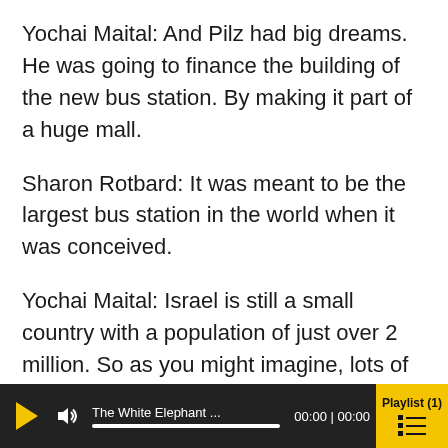Yochai Maital: And Pilz had big dreams. He was going to finance the building of the new bus station. By making it part of a huge mall.
Sharon Rotbard: It was meant to be the largest bus station in the world when it was conceived.
Yochai Maital: Israel is still a small country with a population of just over 2 million. So as you might imagine, lots of people thought the idea was absolutely insane, but Piltz was charismatic. And even more importantly, he knew all the right people. So he
The White Elephant ... 00:00 | 00:00 Playlist (1)